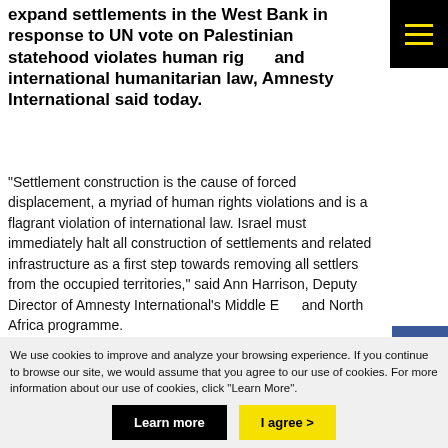expand settlements in the West Bank in response to UN vote on Palestinian statehood violates human rights and international humanitarian law, Amnesty International said today.
"Settlement construction is the cause of forced displacement, a myriad of human rights violations and is a flagrant violation of international law. Israel must immediately halt all construction of settlements and related infrastructure as a first step towards removing all settlers from the occupied territories," said Ann Harrison, Deputy Director of Amnesty International's Middle East and North Africa programme.
"This announcement sends a strong signal to the world that t
We use cookies to improve and analyze your browsing experience. If you continue to browse our site, we would assume that you agree to our use of cookies. For more information about our use of cookies, click "Learn More".